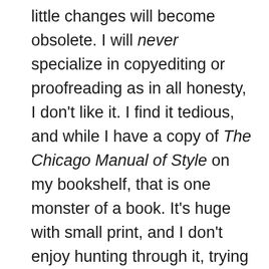little changes will become obsolete. I will never specialize in copyediting or proofreading as in all honesty, I don't like it. I find it tedious, and while I have a copy of The Chicago Manual of Style on my bookshelf, that is one monster of a book. It's huge with small print, and I don't enjoy hunting through it, trying to find the answer to small stylistic questions. I'd much rather brainstorm with the author on how to flesh out a character, or tinker with a sentence to make it more active and engaging.